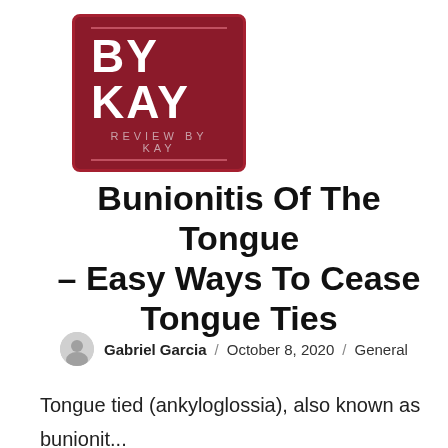[Figure (logo): BY KAY — Review By Kay logo with dark red background and white bold text]
Bunionitis Of The Tongue – Easy Ways To Cease Tongue Ties
Gabriel Garcia / October 8, 2020 / General
Tongue tied (ankyloglossia), also known as bunionitis of the tongue, is caused by a malformed or shortened lingual frenulum (or membrane which anchors the